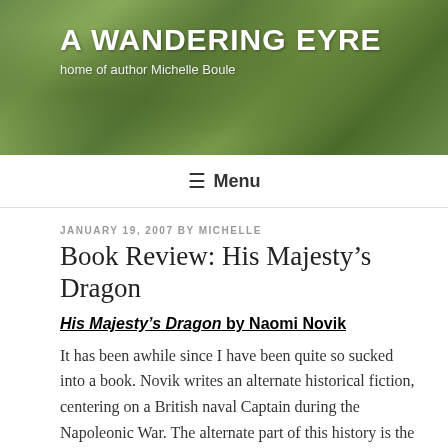A WANDERING EYRE
home of author Michelle Boule
Menu
JANUARY 19, 2007 BY MICHELLE
Book Review: His Majesty’s Dragon
His Majesty’s Dragon by Naomi Novik
It has been awhile since I have been quite so sucked into a book. Novik writes an alternate historical fiction, centering on a British naval Captain during the Napoleonic War. The alternate part of this history is the presence of dragons in the world. Upon capturing a French ship, William Laurence finds a dragon egg in the